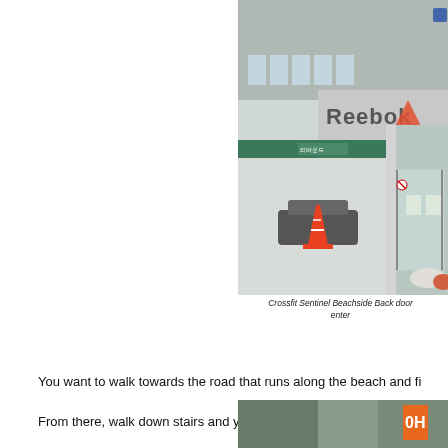[Figure (photo): Exterior photo of Crossfit Sentinel Beachside building showing a Reebok sign, a traffic cone in a parking/entry area, glass doors, and a multi-story building facade.]
Crossfit Sentinel Beachside Back door enter
You want to walk towards the road that runs along the beach and fi
From there, walk down stairs and you'll appear at the front desk of t
[Figure (photo): Partial photo at the bottom of the page showing an interior or exterior area of the gym.]